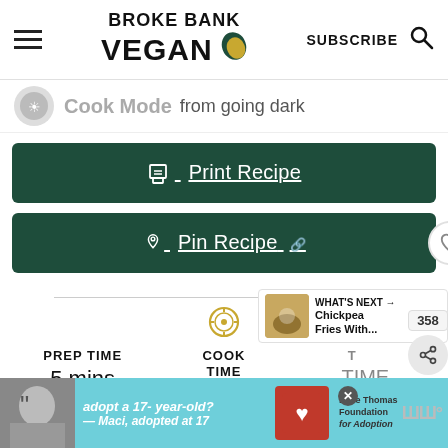BROKE BANK VEGAN | SUBSCRIBE
Cook Mode from going dark
Print Recipe
Pin Recipe
PREP TIME 5 mins | COOK TIME 0 mins | T... TIME 5 mins
[Figure (screenshot): WHAT'S NEXT arrow, Chickpea Fries With... thumbnail]
[Figure (screenshot): Advertisement banner: adopt a 17-year-old? — Maci, adopted at 17, Dave Thomas Foundation for Adoption]